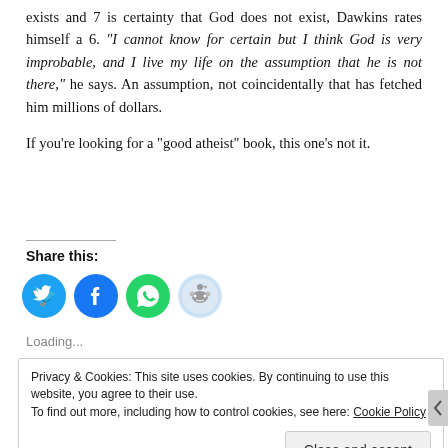exists and 7 is certainty that God does not exist, Dawkins rates himself a 6. "I cannot know for certain but I think God is very improbable, and I live my life on the assumption that he is not there," he says. An assumption, not coincidentally that has fetched him millions of dollars.

If you’re looking for a “good atheist” book, this one’s not it.
Share this:
[Figure (infographic): Social sharing icons: Twitter (blue circle with bird), Facebook (blue circle with f), WhatsApp (green circle with phone), Reddit (light blue circle with alien mascot)]
Loading...
Privacy & Cookies: This site uses cookies. By continuing to use this website, you agree to their use. To find out more, including how to control cookies, see here: Cookie Policy
Close and accept